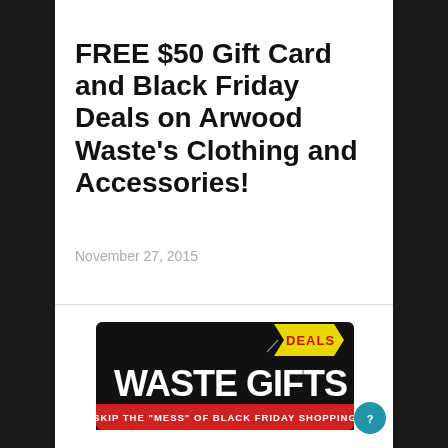FREE $50 Gift Card and Black Friday Deals on Arwood Waste's Clothing and Accessories!
November 27, 2015
[Figure (logo): Waste Gifts logo on black background with yellow DEALS tag and red banner reading SKIP THE "MESS" OF BLACK FRIDAY SHOPPING]